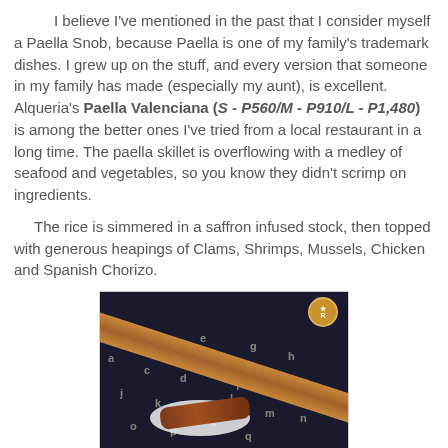I believe I've mentioned in the past that I consider myself a Paella Snob, because Paella is one of my family's trademark dishes. I grew up on the stuff, and every version that someone in my family has made (especially my aunt), is excellent. Alqueria's Paella Valenciana (S - P560/M - P910/L - P1,480) is among the better ones I've tried from a local restaurant in a long time. The paella skillet is overflowing with a medley of seafood and vegetables, so you know they didn't scrimp on ingredients.

The rice is simmered in a saffron infused stock, then topped with generous heapings of Clams, Shrimps, Mussels, Chicken and Spanish Chorizo.
[Figure (photo): Close-up photo of a paella dish on a dark patterned fabric placemat with wooden edge visible, showing a piece of Spanish Chorizo on a white plate, with a circular logo watermark in top right corner.]